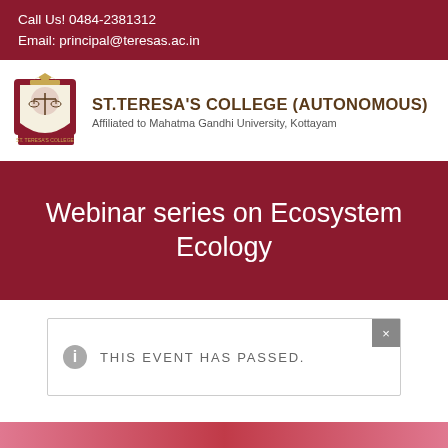Call Us! 0484-2381312
Email: principal@teresas.ac.in
[Figure (logo): St. Teresa's College shield/crest logo with crown and scales emblem]
ST.TERESA'S COLLEGE (AUTONOMOUS)
Affiliated to Mahatma Gandhi University, Kottayam
Webinar series on Ecosystem Ecology
THIS EVENT HAS PASSED.